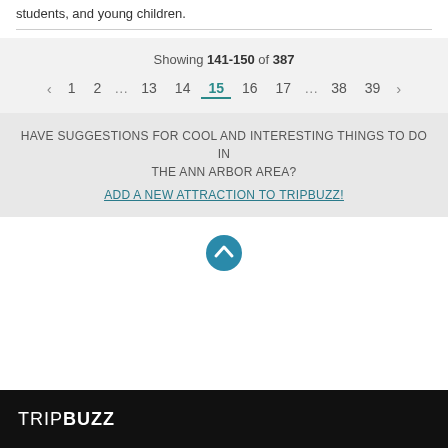students, and young children.
Showing 141-150 of 387
< 1 2 … 13 14 15 16 17 … 38 39 >
HAVE SUGGESTIONS FOR COOL AND INTERESTING THINGS TO DO IN THE ANN ARBOR AREA?
ADD A NEW ATTRACTION TO TRIPBUZZ!
[Figure (other): Scroll-to-top button, circular teal icon with upward chevron]
TRIPBUZZ